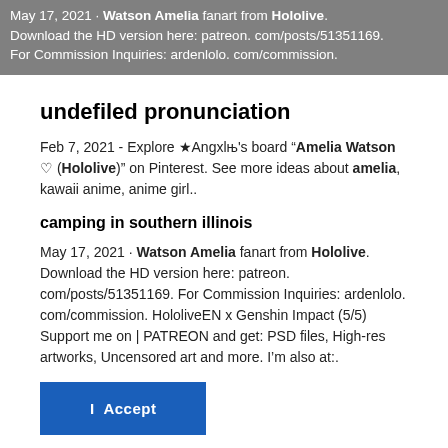May 17, 2021 · Watson Amelia fanart from Hololive. Download the HD version here: patreon. com/posts/51351169. For Commission Inquiries: ardenlolo. com/commission.
undefiled pronunciation
Feb 7, 2021 - Explore ★Angxlll's board "Amelia Watson ♡ (Hololive)" on Pinterest. See more ideas about amelia, kawaii anime, anime girl..
camping in southern illinois
May 17, 2021 · Watson Amelia fanart from Hololive. Download the HD version here: patreon. com/posts/51351169. For Commission Inquiries: ardenlolo. com/commission. HololiveEN x Genshin Impact (5/5) Support me on | PATREON and get: PSD files, High-res artworks, Uncensored art and more. I'm also at:.
I  Accept
Show Purposes